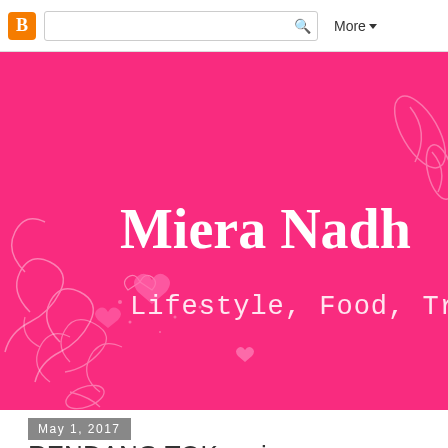Blogger navigation bar with search and More button
[Figure (illustration): Hot pink blog banner with white decorative floral/heart swirls in bottom-left and leaf/floral motifs in top-right corner. Blog name 'Miera Nadh' in bold white serif font, subtitle 'Lifestyle, Food, Trave...' in white cursive/monospace font below.]
May 1, 2017
RENDANG TOK recipe
Yield: 2 Servings